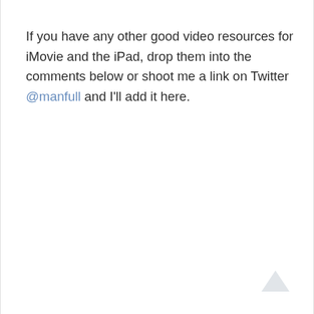If you have any other good video resources for iMovie and the iPad, drop them into the comments below or shoot me a link on Twitter @manfull and I'll add it here.